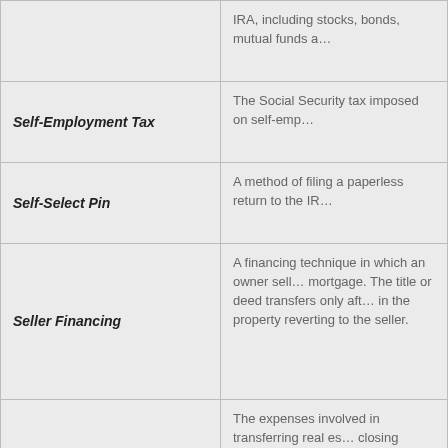| Term | Definition |
| --- | --- |
|  | IRA, including stocks, bonds, mutual funds a… |
| Self-Employment Tax | The Social Security tax imposed on self-emp… |
| Self-Select Pin | A method of filing a paperless return to the IR… |
| Seller Financing | A financing technique in which an owner sells… mortgage. The title or deed transfers only aft… in the property reverting to the seller. |
| Settlement Costs | The expenses involved in transferring real es… closing costs. These typically include charge… appraisal, prope… ch, title in… and legal service… ude point… (PMI). |
| Share | One unit of ownership in a corporation, mutu… |
| Shareholder | Any holder of one or more shares in a corpo… |